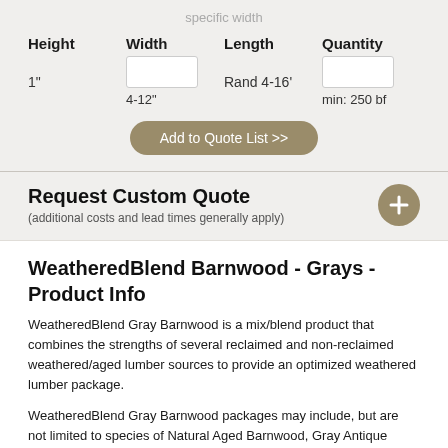specific width
Height
1"
Width
4-12"
Length
Rand 4-16'
Quantity
min: 250 bf
Add to Quote List >>
Request Custom Quote
(additional costs and lead times generally apply)
WeatheredBlend Barnwood - Grays - Product Info
WeatheredBlend Gray Barnwood is a mix/blend product that combines the strengths of several reclaimed and non-reclaimed weathered/aged lumber sources to provide an optimized weathered lumber package.
WeatheredBlend Gray Barnwood packages may include, but are not limited to species of Natural Aged Barnwood, Gray Antique Board...